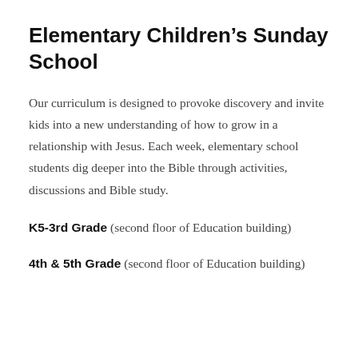Elementary Children's Sunday School
Our curriculum is designed to provoke discovery and invite kids into a new understanding of how to grow in a relationship with Jesus. Each week, elementary school students dig deeper into the Bible through activities, discussions and Bible study.
K5-3rd Grade (second floor of Education building)
4th & 5th Grade (second floor of Education building)